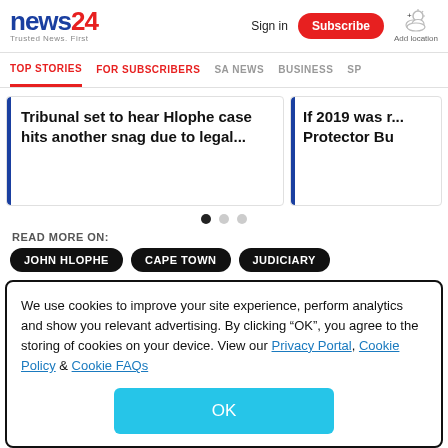[Figure (logo): News24 logo with tagline 'Trusted News. First']
Sign in
Subscribe
Add location
TOP STORIES   FOR SUBSCRIBERS   SA NEWS   BUSINESS   SP
Tribunal set to hear Hlophe case hits another snag due to legal...
If 2019 was r... Protector Bu
READ MORE ON:
JOHN HLOPHE
CAPE TOWN
JUDICIARY
We use cookies to improve your site experience, perform analytics and show you relevant advertising. By clicking "OK", you agree to the storing of cookies on your device. View our Privacy Portal, Cookie Policy & Cookie FAQs
OK